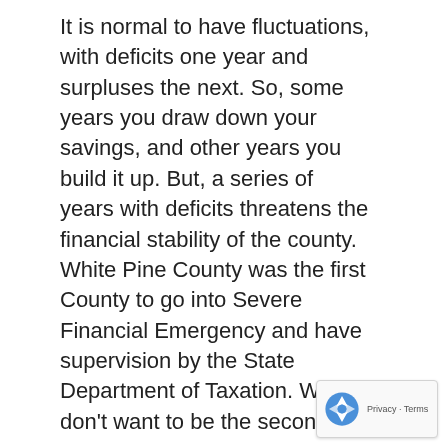It is normal to have fluctuations, with deficits one year and surpluses the next. So, some years you draw down your savings, and other years you build it up. But, a series of years with deficits threatens the financial stability of the county. White Pine County was the first County to go into Severe Financial Emergency and have supervision by the State Department of Taxation. We don't want to be the second!